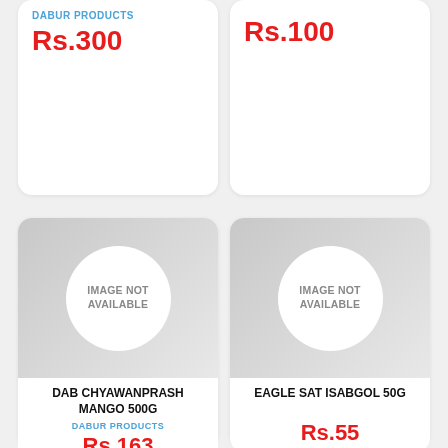DABUR PRODUCTS
Rs.300
Rs.100
[Figure (illustration): Product card with IMAGE NOT AVAILABLE placeholder for DAB CHYAWANPRASH MANGO 500G]
DAB CHYAWANPRASH MANGO 500G
DABUR PRODUCTS
Rs.163
[Figure (illustration): Product card with IMAGE NOT AVAILABLE placeholder for EAGLE SAT ISABGOL 50G]
EAGLE SAT ISABGOL 50G
Rs.55